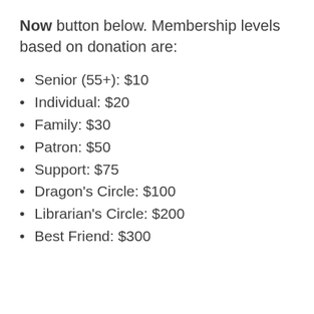Now button below. Membership levels based on donation are:
Senior (55+): $10
Individual: $20
Family: $30
Patron: $50
Support: $75
Dragon's Circle: $100
Librarian's Circle: $200
Best Friend: $300